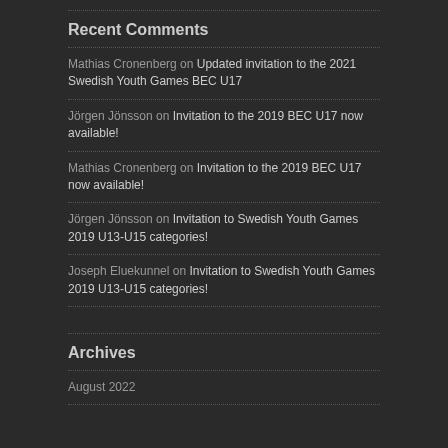Recent Comments
Mathias Cronenberg on Updated invitation to the 2021 Swedish Youth Games BEC U17
Jörgen Jönsson on Invitation to the 2019 BEC U17 now available!
Mathias Cronenberg on Invitation to the 2019 BEC U17 now available!
Jörgen Jönsson on Invitation to Swedish Youth Games 2019 U13-U15 categories!
Joseph Eluekunnel on Invitation to Swedish Youth Games 2019 U13-U15 categories!
Archives
August 2022